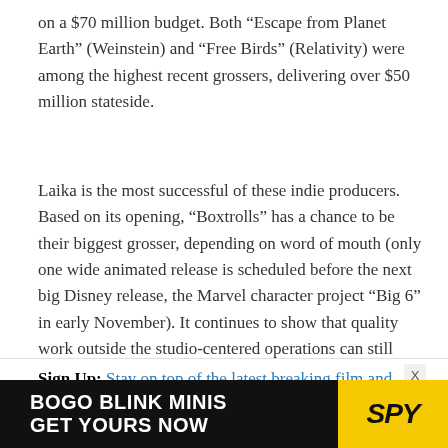on a $70 million budget. Both “Escape from Planet Earth” (Weinstein) and “Free Birds” (Relativity) were among the highest recent grossers, delivering over $50 million stateside.
Laika is the most successful of these indie producers. Based on its opening, “Boxtrolls” has a chance to be their biggest grosser, depending on word of mouth (only one wide animated release is scheduled before the next big Disney release, the Marvel character project “Big 6” in early November). It continues to show that quality work outside the studio-centered operations can still compete in a wide market.
Sign Up: Stay on top of the latest breaking film and TV news! Sign up for our Email Newsletters here.
[Figure (other): Advertisement banner: BOGO BLINK MINIS / GET YOURS NOW with SPY logo in yellow]